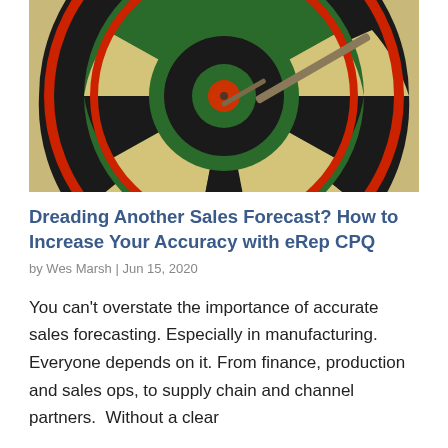[Figure (photo): Close-up photograph of a dartboard with a dart hitting the bullseye center. The board shows the classic pattern with black, tan, red, and green segments. Background is blurred.]
Dreading Another Sales Forecast? How to Increase Your Accuracy with eRep CPQ
by Wes Marsh | Jun 15, 2020
You can't overstate the importance of accurate sales forecasting. Especially in manufacturing. Everyone depends on it. From finance, production and sales ops, to supply chain and channel partners.  Without a clear